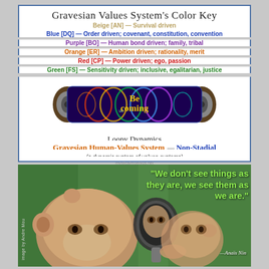Gravesian Values System's Color Key
Beige [AN] — Survival driven
Blue [DQ] — Order driven; covenant, constitution, convention
Purple [BO] — Human bond driven; family, tribal
Orange [ER] — Ambition driven; rationality, merit
Red [CP] — Power driven; ego, passion
Green [FS] — Sensitivity driven; inclusive, egalitarian, justice
[Figure (illustration): Cylindrical loopy dynamics scroll/capsule with colorful looping patterns and the word 'Becoming' on it, with metallic end caps]
Loopy Dynamics
Gravesian Human-Values System — Non-Stadial
(a dynamic system of values-systems)
mysticalmoebius.net
[Figure (photo): Monkey looking at its reflection in a circular mirror, against a green background, with the quote: 'We don't see things as they are, we see them as we are.' — Anaïs Nin]
—Anaïs Nin
Image by Andre Mou